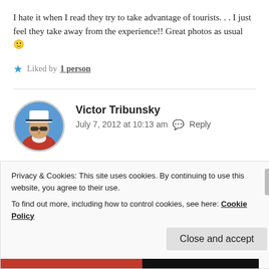I hate it when I read they try to take advantage of tourists. . . I just feel they take away from the experience!! Great photos as usual 🙂
★ Liked by 1 person
Victor Tribunsky
July 7, 2012 at 10:13 am  Reply
Not all of them are the same. In one cafe, the bill was
Privacy & Cookies: This site uses cookies. By continuing to use this website, you agree to their use.
To find out more, including how to control cookies, see here: Cookie Policy
Close and accept